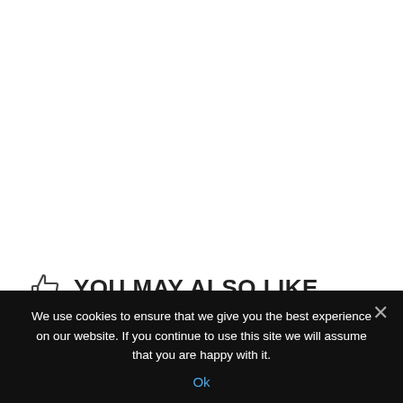YOU MAY ALSO LIKE...
[Figure (other): Three gray card thumbnails with blue comment badges showing '0' replies each, partially visible]
We use cookies to ensure that we give you the best experience on our website. If you continue to use this site we will assume that you are happy with it.
Ok